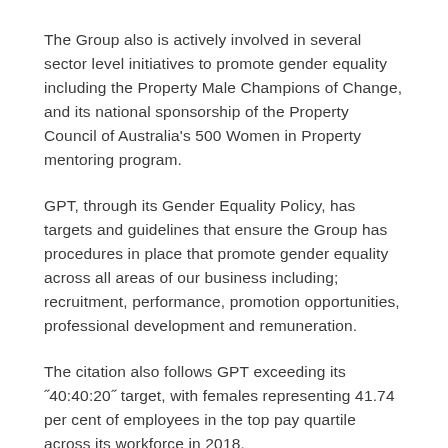The Group also is actively involved in several sector level initiatives to promote gender equality including the Property Male Champions of Change, and its national sponsorship of the Property Council of Australia's 500 Women in Property mentoring program.
GPT, through its Gender Equality Policy, has targets and guidelines that ensure the Group has procedures in place that promote gender equality across all areas of our business including; recruitment, performance, promotion opportunities, professional development and remuneration.
The citation also follows GPT exceeding its ˝40:40:20˝ target, with females representing 41.74 per cent of employees in the top pay quartile across its workforce in 2018.